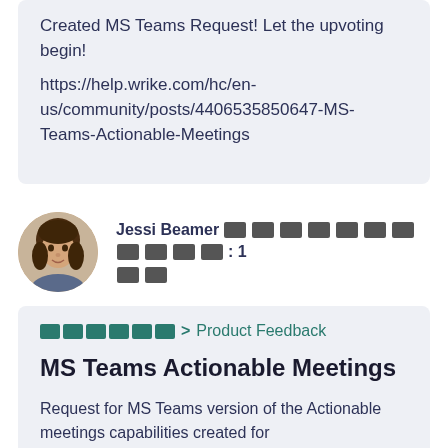Created MS Teams Request! Let the upvoting begin! https://help.wrike.com/hc/en-us/community/posts/4406535850647-MS-Teams-Actionable-Meetings
Jessi Beamer [redacted blocks]: 1 [redacted blocks]
[redacted] > Product Feedback
MS Teams Actionable Meetings
Request for MS Teams version of the Actionable meetings capabilities created for